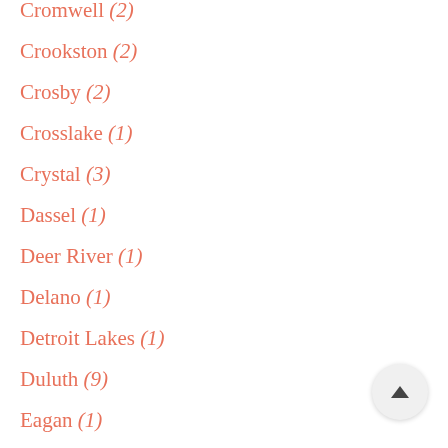Cromwell (2)
Crookston (2)
Crosby (2)
Crosslake (1)
Crystal (3)
Dassel (1)
Deer River (1)
Delano (1)
Detroit Lakes (1)
Duluth (9)
Eagan (1)
East Bethel (1)